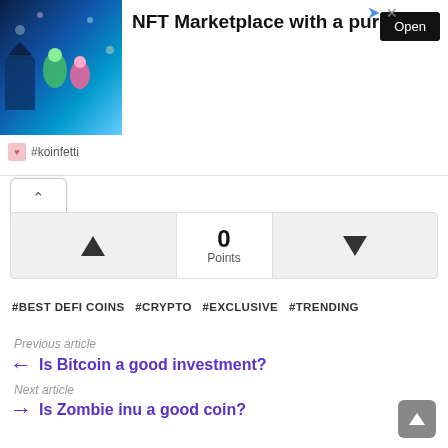[Figure (screenshot): Advertisement banner for NFT Marketplace with a purpose by #koinfetti, showing colorful NFT artwork image on left, bold title text, and an Open button on the right]
[Figure (infographic): Voting widget with upvote arrow button, score of 0 Points in center, and downvote arrow button]
#BEST DEFI COINS  #CRYPTO  #EXCLUSIVE  #TRENDING
Previous article
Is Bitcoin a good investment?
Next article
Is Zombie inu a good coin?